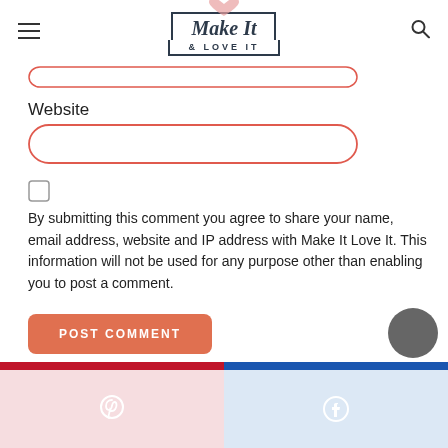[Figure (logo): Make It & Love It blog logo with heart and bordered text]
Website
[Figure (screenshot): Website input field with red rounded border]
[Figure (screenshot): Checkbox (unchecked)]
By submitting this comment you agree to share your name, email address, website and IP address with Make It Love It. This information will not be used for any purpose other than enabling you to post a comment.
[Figure (screenshot): POST COMMENT button in orange/salmon color]
[Figure (screenshot): Bottom social bar with Pinterest (pink/red) and Facebook (blue) sections with icons]